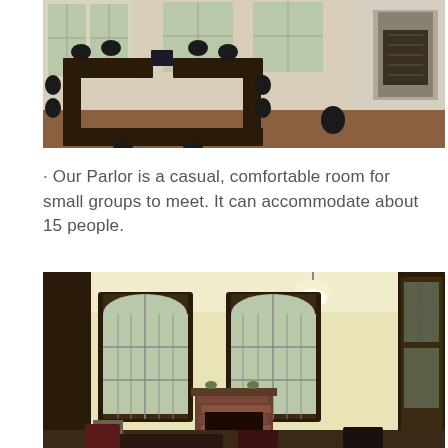[Figure (photo): Interior photo of a conference room with a large dark U-shaped table, black chairs arranged around it, white-painted brick fireplace on the right wall, and large windows letting in natural light.]
· Our Parlor is a casual, comfortable room for small groups to meet. It can accommodate about 15 people.
[Figure (photo): Interior photo of a parlor room with pale yellow walls, dark wood arched windows, a brick fireplace in the center, a hanging pendant light, dark wood trim, and some seating furniture including dark red/maroon chairs.]